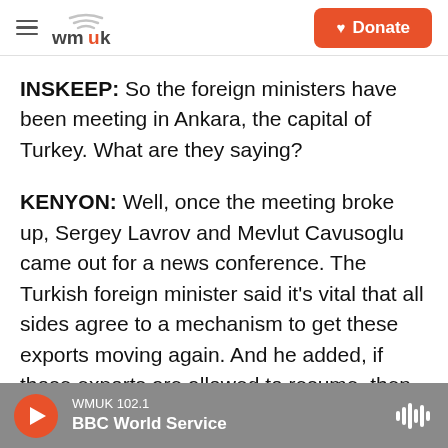wmuk | Donate
INSKEEP: So the foreign ministers have been meeting in Ankara, the capital of Turkey. What are they saying?
KENYON: Well, once the meeting broke up, Sergey Lavrov and Mevlut Cavusoglu came out for a news conference. The Turkish foreign minister said it's vital that all sides agree to a mechanism to get these exports moving again. And he added, if those exports are allowed to resume, then Russia should get serious consideration for its demand that Western sanctions against it be lifted. For his part, Lavrov sounded fairly diplomatic. He called on all
WMUK 102.1 | BBC World Service